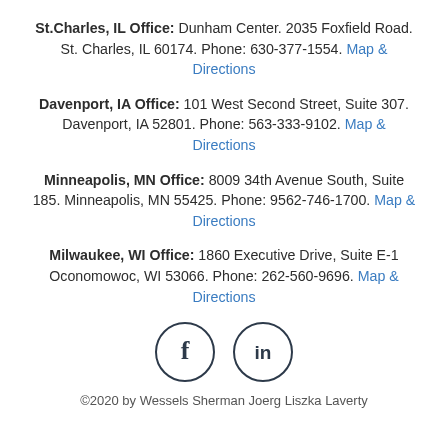St.Charles, IL Office: Dunham Center. 2035 Foxfield Road. St. Charles, IL 60174. Phone: 630-377-1554. Map & Directions
Davenport, IA Office: 101 West Second Street, Suite 307. Davenport, IA 52801. Phone: 563-333-9102. Map & Directions
Minneapolis, MN Office: 8009 34th Avenue South, Suite 185. Minneapolis, MN 55425. Phone: 9562-746-1700. Map & Directions
Milwaukee, WI Office: 1860 Executive Drive, Suite E-1 Oconomowoc, WI 53066. Phone: 262-560-9696. Map & Directions
[Figure (illustration): Facebook and LinkedIn social media icons as circular outlined buttons]
©2020 by Wessels Sherman Joerg Liszka Laverty